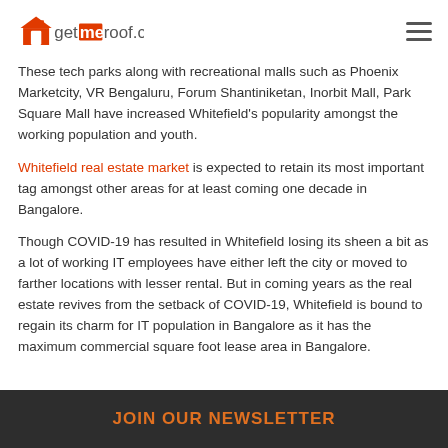getmeroof.com
These tech parks along with recreational malls such as Phoenix Marketcity, VR Bengaluru, Forum Shantiniketan, Inorbit Mall, Park Square Mall have increased Whitefield's popularity amongst the working population and youth.
Whitefield real estate market is expected to retain its most important tag amongst other areas for at least coming one decade in Bangalore.
Though COVID-19 has resulted in Whitefield losing its sheen a bit as a lot of working IT employees have either left the city or moved to farther locations with lesser rental. But in coming years as the real estate revives from the setback of COVID-19, Whitefield is bound to regain its charm for IT population in Bangalore as it has the maximum commercial square foot lease area in Bangalore.
JOIN OUR NEWSLETTER